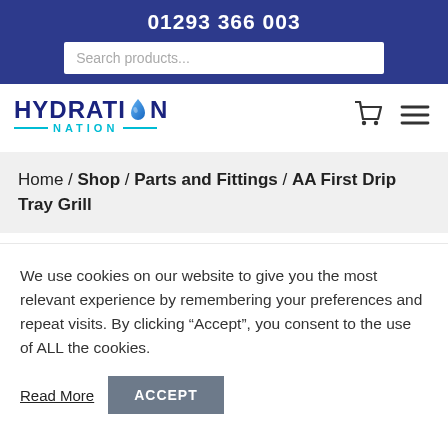01293 366 003
Search products...
[Figure (logo): Hydration Nation logo with water drop icon and cyan accent lines]
Home / Shop / Parts and Fittings / AA First Drip Tray Grill
We use cookies on our website to give you the most relevant experience by remembering your preferences and repeat visits. By clicking "Accept", you consent to the use of ALL the cookies.
Read More
ACCEPT